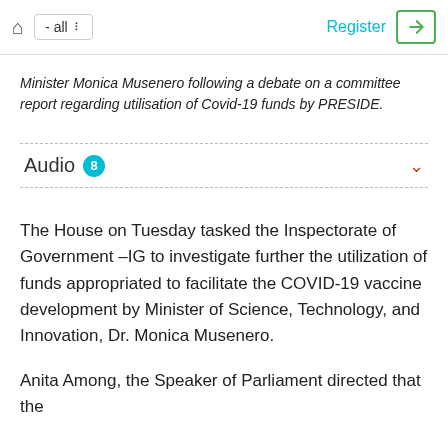- all  Register
Minister Monica Musenero following a debate on a committee report regarding utilisation of Covid-19 funds by PRESIDE.
Audio 8
The House on Tuesday tasked the Inspectorate of Government –IG to investigate further the utilization of funds appropriated to facilitate the COVID-19 vaccine development by Minister of Science, Technology, and Innovation, Dr. Monica Musenero.
Anita Among, the Speaker of Parliament directed that the IG be tasked to investigate the utilization of the funds.